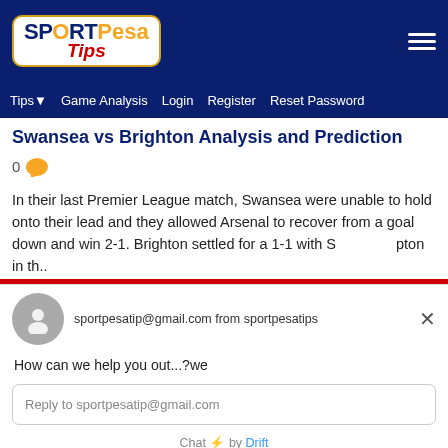SPORTPesa Tips — navigation: Tips, Game Analysis, Login, Register, Reset Password
Swansea vs Brighton Analysis and Prediction
0 [comment icon]
In their last Premier League match, Swansea were unable to hold onto their lead and they allowed Arsenal to recover from a goal down and win 2-1. Brighton settled for a 1-1 with S...pton in th..
[Figure (screenshot): Chat widget overlay showing avatar, sportpesatip@gmail.com from sportpesatips, close button, 'How can we help you out...?we' message, reply input field, and Chat by Drift footer]